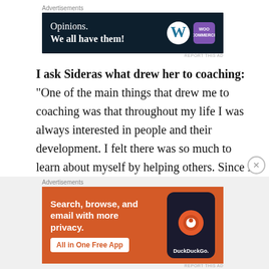Advertisements
[Figure (illustration): Dark navy advertisement banner for WordPress/WooCommerce with text 'Opinions. We all have them!' and WordPress W logo and WooCommerce logo on the right]
REPORT THIS AD
I ask Sideras what drew her to coaching: “One of the main things that drew me to coaching was that throughout my life I was always interested in people and their development. I felt there was so much to learn about myself by helping others. Since in my twenties I was drawn to yoga and spiritual development, so I’d had some tasters of how
Advertisements
[Figure (illustration): Orange DuckDuckGo advertisement banner with text 'Search, browse, and email with more privacy. All in One Free App' and a phone showing the DuckDuckGo app]
REPORT THIS AD